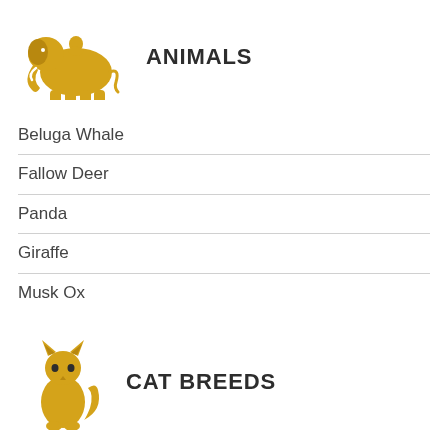[Figure (illustration): Golden/amber silhouette of an elephant with a person/figure on its back]
ANIMALS
Beluga Whale
Fallow Deer
Panda
Giraffe
Musk Ox
[Figure (illustration): Golden/amber silhouette of a sitting cat]
CAT BREEDS
Bambino Cat
Birman
American Bobtail
LaPerm